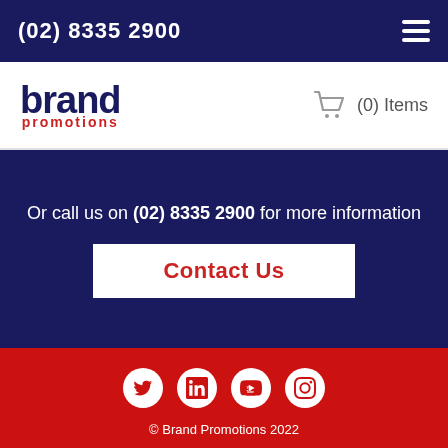(02) 8335 2900
[Figure (logo): Brand Promotions logo — 'brand' in dark navy bold, 'promotions' in red smaller text below]
(0) Items
Or call us on (02) 8335 2900 for more information
Contact Us
[Figure (infographic): Social media icons: Twitter, LinkedIn, YouTube, Instagram — white icons on red background]
© Brand Promotions 2022